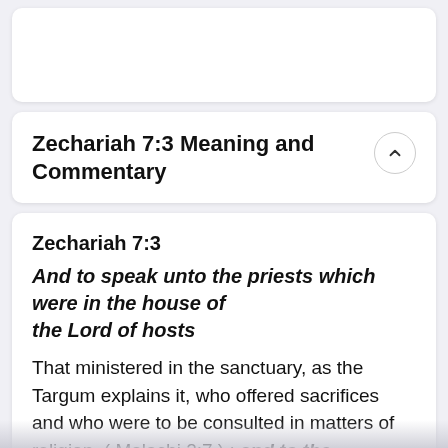Zechariah 7:3 Meaning and Commentary
Zechariah 7:3
And to speak unto the priests which were in the house of the Lord of hosts
That ministered in the sanctuary, as the Targum explains it, who offered sacrifices and who were to be consulted in matters of religion, ( Malachi 2:7 ) : and to the prophets;
who were then in being, as Haggai